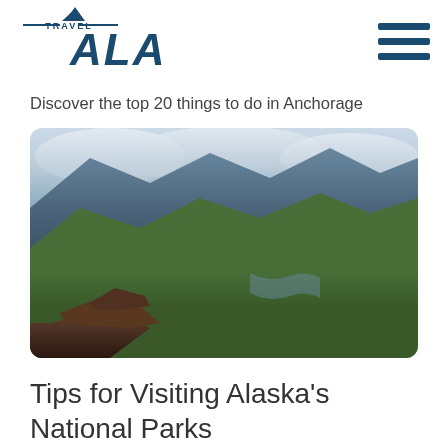[Figure (logo): Travel Alaska logo with mountain icon, horizontal lines, and bold italic text]
[Figure (other): Hamburger menu icon with three horizontal dark blue bars]
Discover the top 20 things to do in Anchorage
[Figure (photo): Scenic Alaskan mountain landscape with green valleys, rocky foreground, forested slopes, and cloudy sky]
Tips for Visiting Alaska's National Parks